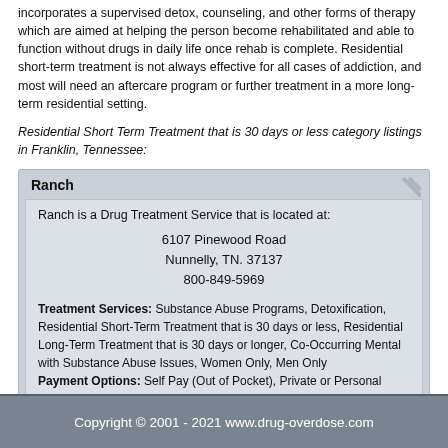incorporates a supervised detox, counseling, and other forms of therapy which are aimed at helping the person become rehabilitated and able to function without drugs in daily life once rehab is complete. Residential short-term treatment is not always effective for all cases of addiction, and most will need an aftercare program or further treatment in a more long-term residential setting.
Residential Short Term Treatment that is 30 days or less category listings in Franklin, Tennessee:
Ranch
Ranch is a Drug Treatment Service that is located at:
6107 Pinewood Road
Nunnelly, TN. 37137
800-849-5969
Treatment Services: Substance Abuse Programs, Detoxification, Residential Short-Term Treatment that is 30 days or less, Residential Long-Term Treatment that is 30 days or longer, Co-Occurring Mental with Substance Abuse Issues, Women Only, Men Only
Payment Options: Self Pay (Out of Pocket), Private or Personal Health Insurance
Copyright © 2001 - 2021 www.drug-overdose.com